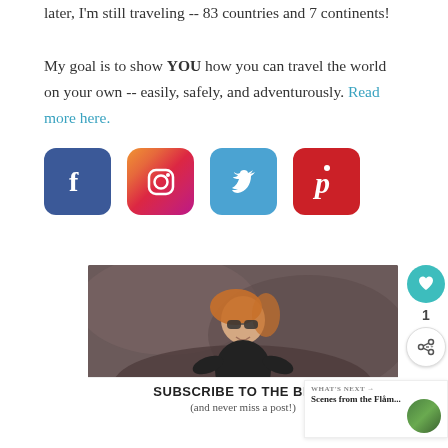later, I'm still traveling -- 83 countries and 7 continents! My goal is to show YOU how you can travel the world on your own -- easily, safely, and adventurously. Read more here.
[Figure (illustration): Four social media icons in a row: Facebook (blue rounded square), Instagram (gradient rounded square), Twitter (blue rounded square), Pinterest (red rounded square)]
[Figure (photo): A woman with blonde hair wearing sunglasses and a dark top, smiling, photographed from above on rocky terrain]
SUBSCRIBE TO THE BLOG (and never miss a post!)
[Figure (infographic): WHAT'S NEXT arrow label with thumbnail and text: Scenes from the Flåm...]